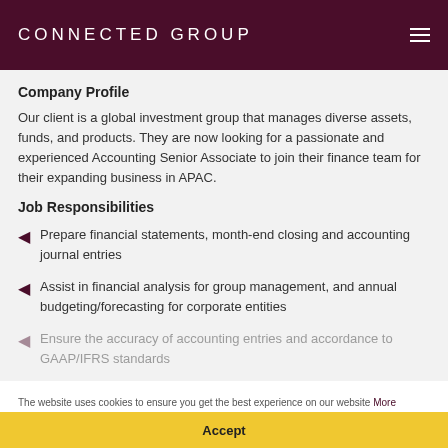CONNECTED GROUP
Company Profile
Our client is a global investment group that manages diverse assets, funds, and products. They are now looking for a passionate and experienced Accounting Senior Associate to join their finance team for their expanding business in APAC.
Job Responsibilities
Prepare financial statements, month-end closing and accounting journal entries
Assist in financial analysis for group management, and annual budgeting/forecasting for corporate entities
Ensure the accuracy of accounting entries and accordance to GAAP/IFRS standards